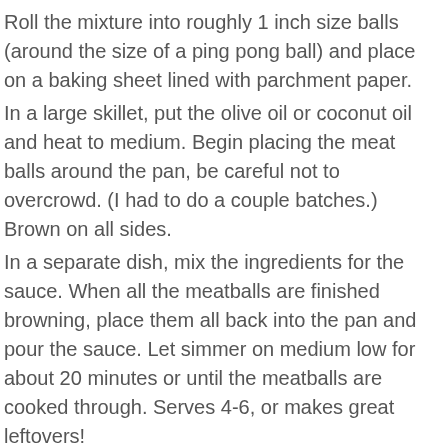Roll the mixture into roughly 1 inch size balls (around the size of a ping pong ball) and place on a baking sheet lined with parchment paper.
In a large skillet, put the olive oil or coconut oil and heat to medium. Begin placing the meat balls around the pan, be careful not to overcrowd. (I had to do a couple batches.) Brown on all sides.
In a separate dish, mix the ingredients for the sauce. When all the meatballs are finished browning, place them all back into the pan and pour the sauce. Let simmer on medium low for about 20 minutes or until the meatballs are cooked through. Serves 4-6, or makes great leftovers!